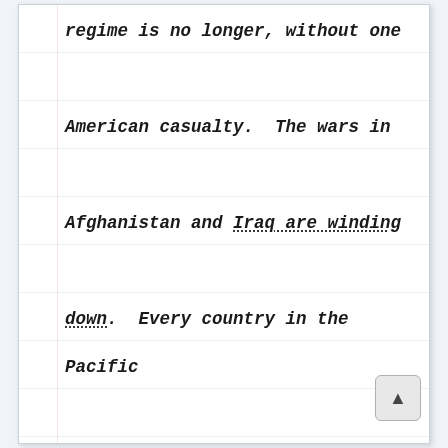regime is no longer, without one American casualty. The wars in Afghanistan and Iraq are winding down. Every country in the Pacific Rim without a Communist Party running things is trying to hug us closer.

“Imagine what I could accomplish in domestic policy without the kind of obstructionism and filibustering that we’re seeing in Congress –